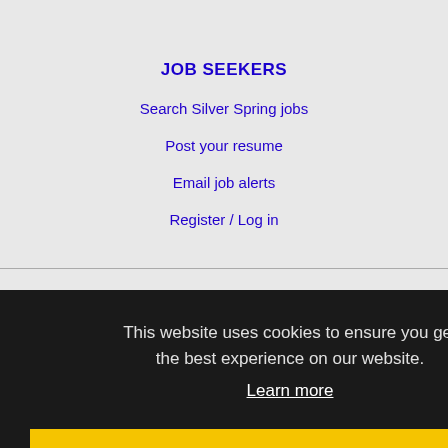JOB SEEKERS
Search Silver Spring jobs
Post your resume
Email job alerts
Register / Log in
EMPLOYERS
Post jobs
This website uses cookies to ensure you get the best experience on our website.
Learn more
Got it!
Advertise
IMMIGRATION SPECIALISTS
Post jobs